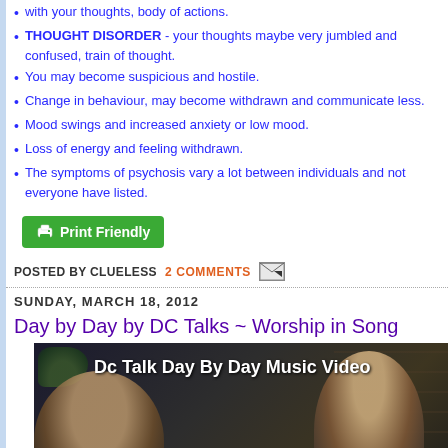with your thoughts, body or actions.
THOUGHT DISORDER - your thoughts maybe very jumbled and confused, train of thought.
You may become suspicious and hostile.
Change in behaviour, may become withdrawn and communicate less.
Mood swings and increased anxiety or low mood.
Loss of energy and feeling withdrawn.
The symptoms of psychosis vary a lot between individuals and not everyone have listed.
Print Friendly
POSTED BY CLUELESS   2 COMMENTS
SUNDAY, MARCH 18, 2012
Day by Day by DC Talks ~ Worship in Song
[Figure (screenshot): Video thumbnail showing 'Dc Talk Day By Day Music Video' title overlay on a dark background with two people visible]